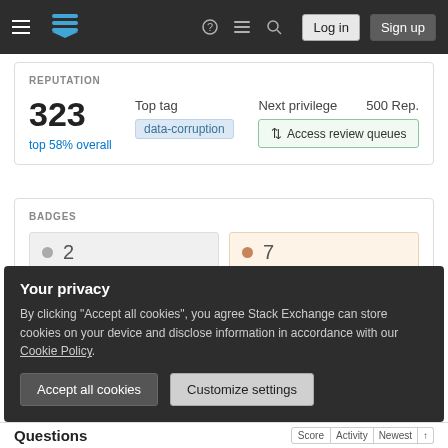Stack Exchange navigation bar with Log in and Sign up buttons
REPUTATION
323 top 58% overall
Top tag: data-corruption
Next privilege 500 Rep. Access review queues
BADGES
2 (silver) 7 (bronze)
Newest: Yearling
Next badge 0/1 Critic
Your privacy
By clicking "Accept all cookies", you agree Stack Exchange can store cookies on your device and disclose information in accordance with our Cookie Policy.
Accept all cookies
Customize settings
Questions